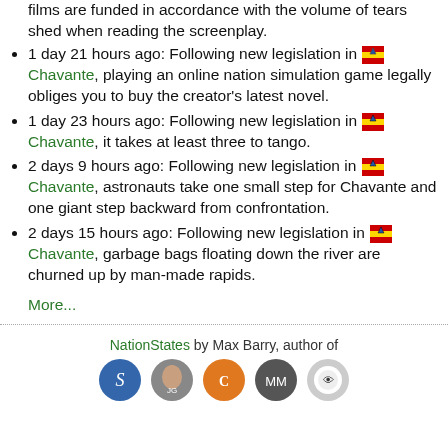films are funded in accordance with the volume of tears shed when reading the screenplay.
1 day 21 hours ago: Following new legislation in [flag] Chavante, playing an online nation simulation game legally obliges you to buy the creator's latest novel.
1 day 23 hours ago: Following new legislation in [flag] Chavante, it takes at least three to tango.
2 days 9 hours ago: Following new legislation in [flag] Chavante, astronauts take one small step for Chavante and one giant step backward from confrontation.
2 days 15 hours ago: Following new legislation in [flag] Chavante, garbage bags floating down the river are churned up by man-made rapids.
More...
NationStates by Max Barry, author of
[Figure (illustration): Five circular book cover icons in a row]